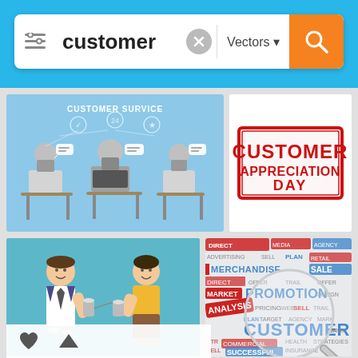[Figure (screenshot): Search interface with search bar showing 'customer' query, Vectors filter dropdown, orange search button, and grid of customer-related vector images below]
[Figure (illustration): Customer service illustration showing robots/workers at computers with 'CUSTOMER SURVICE' text]
[Figure (illustration): Red rubber stamp reading 'CUSTOMER APPRECIATION DAY' on white background]
[Figure (illustration): Two cartoon people communicating via tin can telephone on teal background]
[Figure (illustration): Word collage with magnifying glass highlighting 'CUSTOMER' among marketing words like PROMOTION, SALE, MERCHANDISE, ADVERTISE]